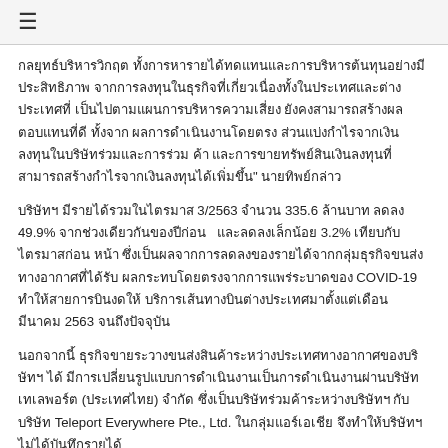≡
กลยุทธ์บริหารวิกฤต ทั้งการหารายได้ทดแทนและการบริหารต้นทุนอย่างมีประสิทธิภาพ จากการลงทุนในธุรกิจที่เกี่ยวเนื่องทั้งในประเทศและต่างประเทศที่เป็นไปตามแผนการบริหารความเสี่ยง ยังคงสามารถสร้างผลตอบแทนที่ดี ทั้งจากผลการดำเนินงานโดยตรง ส่วนแบ่งกำไรจากเงินลงทุนในบริษัทร่วมและการร่วมค้า และการขายทรัพย์สินเงินลงทุนที่สามารถสร้างกำไรจากเงินลงทุนได้เพิ่มขึ้น" นายทิพย์กล่าว
บริษัทฯ มีรายได้รวมในไตรมาส 3/2563 จำนวน 335.6 ล้านบาท ลดลง 49.9% จากช่วงเดียวกันของปีก่อน  และลดลงเล็กน้อย 3.2% เทียบกับไตรมาสก่อนหน้า ซึ่งเป็นผลจากการลดลงของรายได้จากกลุ่มธุรกิจขนส่งทางอากาศที่ได้รับผลกระทบโดยตรงจากการแพร่ระบาดของ COVID-19 ทำให้สายการบินงดให้บริการเส้นทางบินต่างประเทศมาตั้งแต่เดือนมีนาคม 2563 จนถึงปัจจุบัน
นอกจากนี้ ธุรกิจขายระวางขนส่งสินค้าระหว่างประเทศทางอากาศของบริษัทฯ ได้มีการเปลี่ยนรูปแบบการดำเนินงานเป็นการดำเนินงานผ่านบริษัท เทเลพอร์ต (ประเทศไทย) จำกัด ซึ่งเป็นบริษัทร่วมค้าระหว่างบริษัทฯ กับบริษัท Teleport Everywhere Pte., Ltd. ในกลุ่มแอร์เอเชีย จึงทำให้บริษัทฯ ไม่ได้บันทึกรายได้